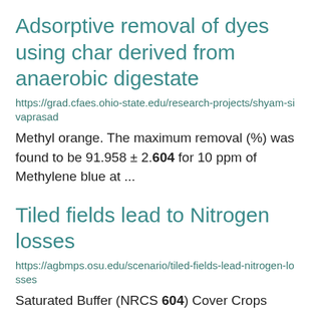Adsorptive removal of dyes using char derived from anaerobic digestate
https://grad.cfaes.ohio-state.edu/research-projects/shyam-sivaprasad
Methyl orange. The maximum removal (%) was found to be 91.958 ± 2.604 for 10 ppm of Methylene blue at ...
Tiled fields lead to Nitrogen losses
https://agbmps.osu.edu/scenario/tiled-fields-lead-nitrogen-losses
Saturated Buffer (NRCS 604) Cover Crops (NRCS 340) Wood Chip Bioreactor (NRCS 605)